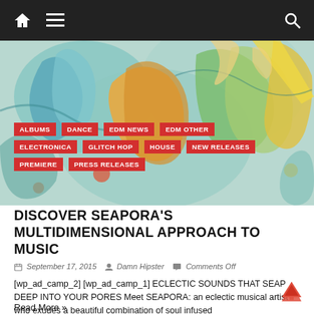Navigation bar with home, menu, and search icons
[Figure (illustration): Colorful abstract illustration with stylized figures in teal, orange, yellow and blue tones]
ALBUMS
DANCE
EDM NEWS
EDM OTHER
ELECTRONICA
GLITCH HOP
HOUSE
NEW RELEASES
PREMIERE
PRESS RELEASES
DISCOVER SEAPORA'S MULTIDIMENSIONAL APPROACH TO MUSIC
September 17, 2015  Damn Hipster  Comments Off
[wp_ad_camp_2] [wp_ad_camp_1] ECLECTIC SOUNDS THAT SEAP DEEP INTO YOUR PORES Meet SEAPORA: an eclectic musical artist who exudes a beautiful combination of soul infused
Read More »